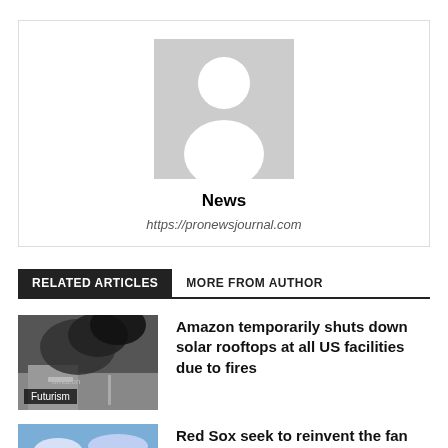[Figure (illustration): Generic author avatar placeholder: gray square with white silhouette of a person (head circle and body shape)]
News
https://pronewsjournal.com
RELATED ARTICLES   MORE FROM AUTHOR
[Figure (photo): Amazon warehouse building with dark smoke rising from rooftop. 'amazon' sign visible. Label: Futurism]
Amazon temporarily shuts down solar rooftops at all US facilities due to fires
[Figure (photo): Stadium or outdoor venue photo with blue sky and clouds]
Red Sox seek to reinvent the fan